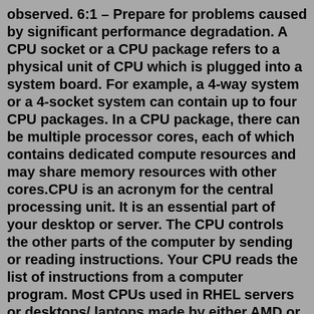observed. 6:1 – Prepare for problems caused by significant performance degradation. A CPU socket or a CPU package refers to a physical unit of CPU which is plugged into a system board. For example, a 4-way system or a 4-socket system can contain up to four CPU packages. In a CPU package, there can be multiple processor cores, each of which contains dedicated compute resources and may share memory resources with other cores.CPU is an acronym for the central processing unit. It is an essential part of your desktop or server. The CPU controls the other parts of the computer by sending or reading instructions. Your CPU reads the list of instructions from a computer program. Most CPUs used in RHEL servers or desktops/ laptops made by either AMD or Intel.How do I add CPU to VMWare virtual machine? Step 2: Set the number of vCPUs. Login to the vSphere Web Client and select the virtual machine in question. Right-click on the virtual machine and select Edit Settings. Under the CPU field